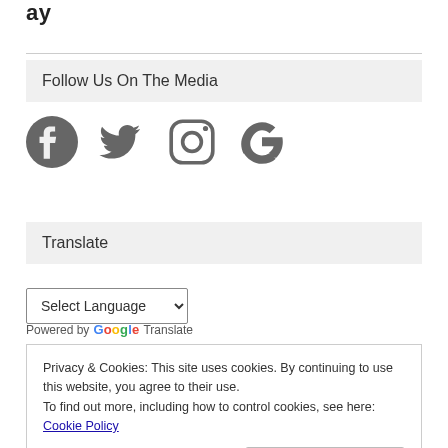ay
Follow Us On The Media
[Figure (illustration): Social media icons: Facebook, Twitter, Instagram, Google]
Translate
Select Language (dropdown) Powered by Google Translate
Privacy & Cookies: This site uses cookies. By continuing to use this website, you agree to their use.
To find out more, including how to control cookies, see here: Cookie Policy
Close and accept